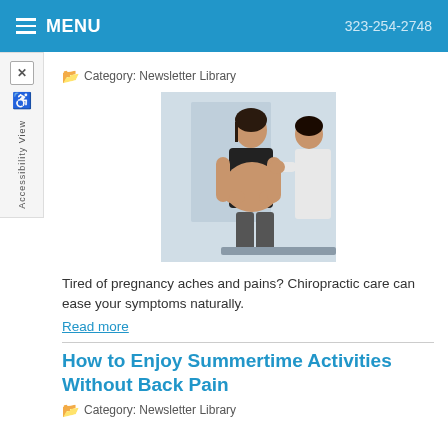MENU  323-254-2748
Category: Newsletter Library
[Figure (photo): A pregnant woman in a black sports bra being examined or treated by a healthcare provider in a clinical setting.]
Tired of pregnancy aches and pains? Chiropractic care can ease your symptoms naturally.
Read more
How to Enjoy Summertime Activities Without Back Pain
Category: Newsletter Library